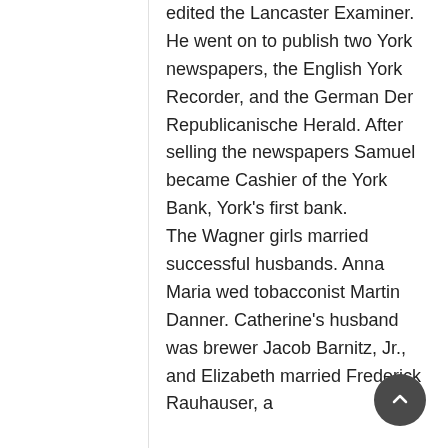edited the Lancaster Examiner. He went on to publish two York newspapers, the English York Recorder, and the German Der Republicanische Herald. After selling the newspapers Samuel became Cashier of the York Bank, York's first bank. The Wagner girls married successful husbands. Anna Maria wed tobacconist Martin Danner. Catherine's husband was brewer Jacob Barnitz, Jr., and Elizabeth married Frederick Rauhauser, a